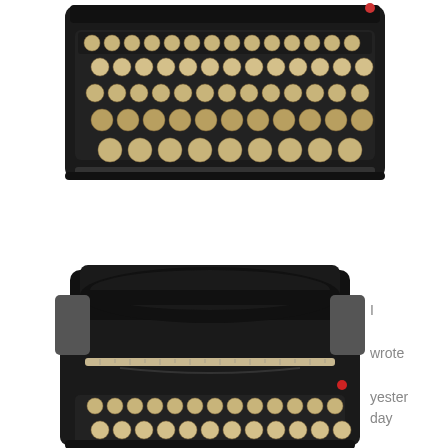[Figure (photo): Top-down view of a vintage black typewriter keyboard, showing rows of round keys with letters]
[Figure (photo): Front view of a large vintage black typewriter with cylindrical platen roller, paper guide bar, and rows of round keys]
I wrote yesterday about how much writers hate writing .